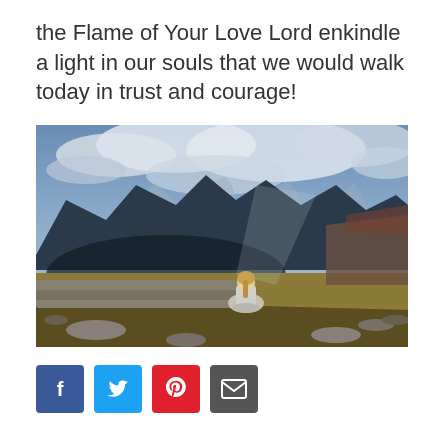the Flame of Your Love Lord enkindle a light in our souls that we would walk today in trust and courage!
[Figure (photo): A woman with blonde hair in a ponytail sits on a rock ledge with her back to the camera, overlooking a dramatic mountain valley landscape with dark peaks, snow, golden grassy slopes, and a stormy blue sky with clouds.]
Social sharing buttons: Facebook, Twitter, Pinterest, Email